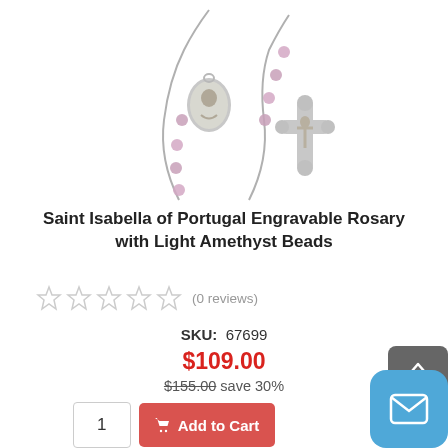[Figure (photo): A silver rosary with light amethyst/pink beads, featuring an oval medal and a crucifix pendant, photographed on white background.]
Saint Isabella of Portugal Engravable Rosary with Light Amethyst Beads
☆ ☆ ☆ ☆ ☆ (0 reviews)
SKU:  67699
$109.00
$155.00 save 30%
1  Add to Cart
Details